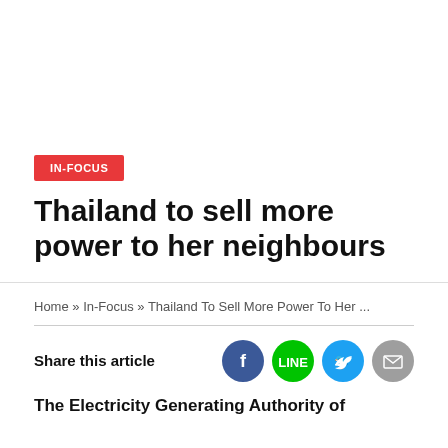IN-FOCUS
Thailand to sell more power to her neighbours
Home » In-Focus » Thailand To Sell More Power To Her ...
Share this article
The Electricity Generating Authority of